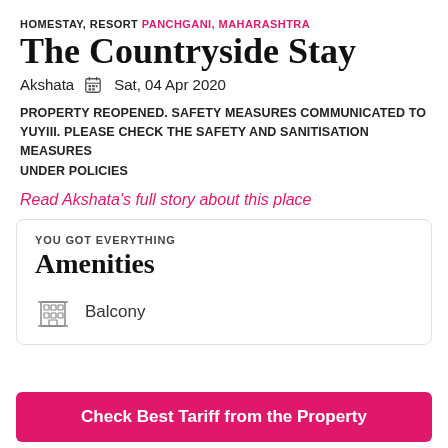HOMESTAY, RESORT PANCHGANI, MAHARASHTRA
The Countryside Stay
Akshata  Sat, 04 Apr 2020
PROPERTY REOPENED. SAFETY MEASURES COMMUNICATED TO YUYIII. PLEASE CHECK THE SAFETY AND SANITISATION MEASURES UNDER POLICIES
Read Akshata’s full story about this place
YOU GOT EVERYTHING
Amenities
Balcony
Check Best Tariff from the Property